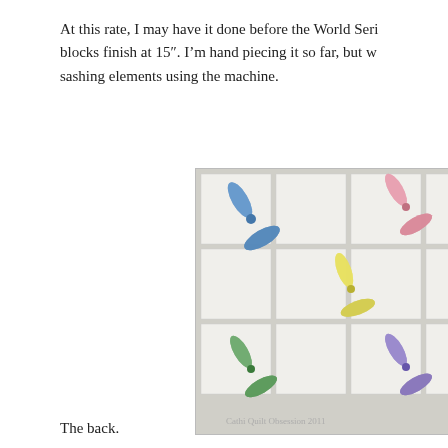At this rate, I may have it done before the World Series. blocks finish at 15". I'm hand piecing it so far, but w sashing elements using the machine.
[Figure (photo): Photo of a quilt layout with colorful pinwheel blocks (blue, pink, yellow, green, purple) arranged on white fabric squares. Watermark reads 'Cathi Quilt Obsession 2011'.]
The back.